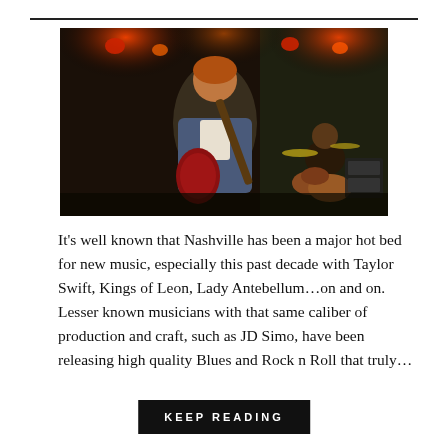[Figure (photo): Concert photo of a guitarist with reddish-brown hair wearing a denim jacket playing a red electric guitar on stage, with red stage lights above and a drummer visible in the background.]
It's well known that Nashville has been a major hot bed for new music, especially this past decade with Taylor Swift, Kings of Leon, Lady Antebellum…on and on. Lesser known musicians with that same caliber of production and craft, such as JD Simo, have been releasing high quality Blues and Rock n Roll that truly…
KEEP READING